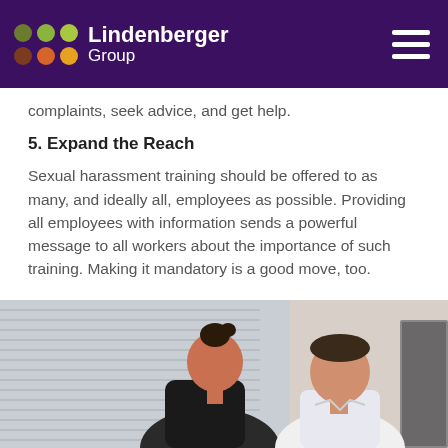Lindenberger Group
complaints, seek advice, and get help.
5. Expand the Reach
Sexual harassment training should be offered to as many, and ideally all, employees as possible. Providing all employees with information sends a powerful message to all workers about the importance of such training. Making it mandatory is a good move, too.
[Figure (photo): Two people in an office setting, a woman leaning close to a man who appears uncomfortable, with venetian blinds in the background.]